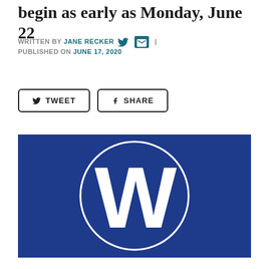begin as early as Monday, June 22
WRITTEN BY JANE RECKER | PUBLISHED ON JUNE 17, 2020
[Figure (logo): White W letter inside a circle outline on a dark blue rectangular background — Chicago Cubs W flag style logo]
TWEET   SHARE